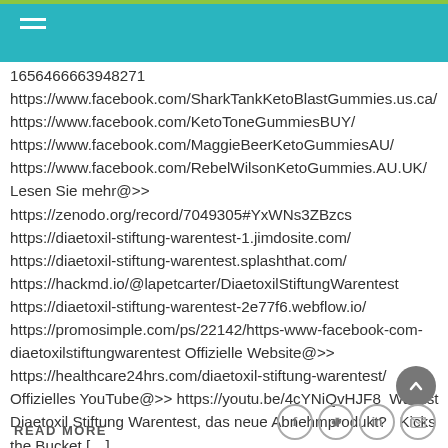1656466663948271 https://www.facebook.com/SharkTankKetoBlastGummies.us.ca/ https://www.facebook.com/KetoToneGummiesBUY/ https://www.facebook.com/MaggieBeerKetoGummiesAU/ https://www.facebook.com/RebelWilsonKetoGummies.AU.UK/ Lesen Sie mehr@>> https://zenodo.org/record/7049305#YxWNs3ZBzcs https://diaetoxil-stiftung-warentest-1.jimdosite.com/ https://diaetoxil-stiftung-warentest.splashthat.com/ https://hackmd.io/@lapetcarter/DiaetoxilStiftungWarentest https://diaetoxil-stiftung-warentest-2e77f6.webflow.io/ https://promosimple.com/ps/22142/https-www-facebook-com-diaetoxilstiftungwarentest Offizielle Website@>> https://healthcare24hrs.com/diaetoxil-stiftung-warentest/ Offizielles YouTube@>> https://youtu.be/4cYNiQvHJF8 Was ist Diaetoxil Stiftung Warentest, das neue Abnehmprodukt? Kicks the Bucket […]
READ MORE